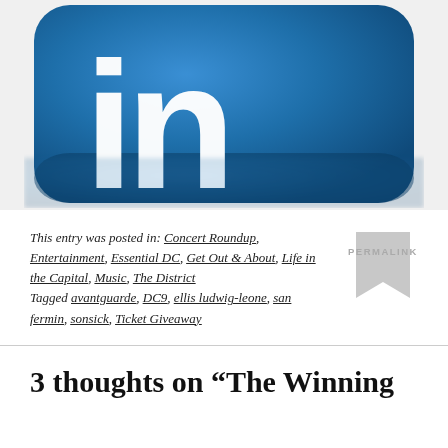[Figure (logo): LinkedIn logo — blue rounded-square icon with white 'in' lettermark, cropped/zoomed showing the lower portion]
This entry was posted in: Concert Roundup, Entertainment, Essential DC, Get Out & About, Life in the Capital, Music, The District Tagged avantguarde, DC9, ellis ludwig-leone, san fermin, sonsick, Ticket Giveaway
[Figure (other): Permalink bookmark ribbon icon with 'PERMALINK' text]
3 thoughts on “The Winning